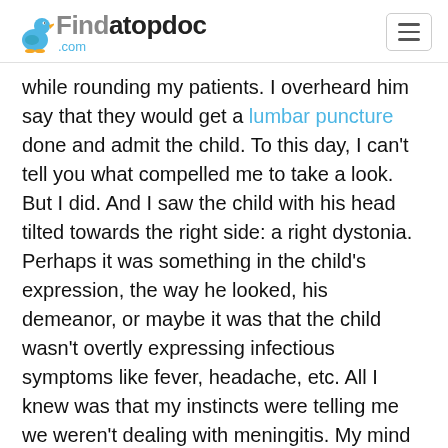Findatopdoc.com
while rounding my patients. I overheard him say that they would get a lumbar puncture done and admit the child. To this day, I can't tell you what compelled me to take a look. But I did. And I saw the child with his head tilted towards the right side: a right dystonia. Perhaps it was something in the child's expression, the way he looked, his demeanor, or maybe it was that the child wasn't overtly expressing infectious symptoms like fever, headache, etc. All I knew was that my instincts were telling me we weren't dealing with meningitis. My mind was gravitating towards a medication side effect that I had seen countless times in my training. The anxious expression of the child was all the motivation I needed to step in and